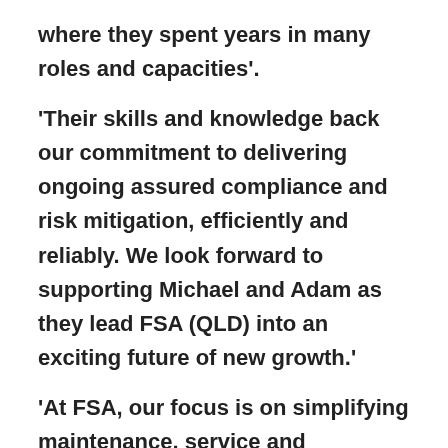where they spent years in many roles and capacities'.
'Their skills and knowledge back our commitment to delivering ongoing assured compliance and risk mitigation, efficiently and reliably. We look forward to supporting Michael and Adam as they lead FSA (QLD) into an exciting future of new growth.'
'At FSA, our focus is on simplifying maintenance, service and regulation compliance for our clients, with straightforward, user-friendly systems designed to streamline the reporting of all